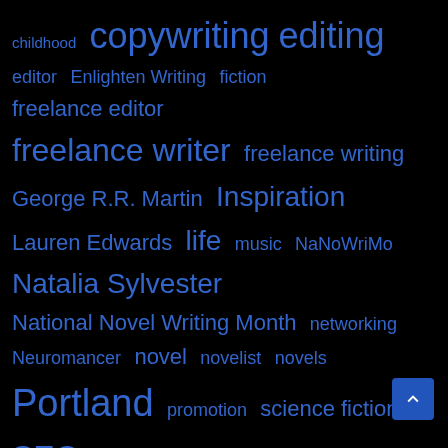[Figure (infographic): Tag cloud with blue text on black background showing various writing and blogging related tags in different font sizes indicating frequency/importance]
childhood  copywriting  editing
editor  Enlighten Writing  fiction
freelance editor
freelance writer  freelance writing
George R.R. Martin  Inspiration
Lauren Edwards  life  music  NaNoWriMo
Natalia Sylvester
National Novel Writing Month  networking
Neuromancer  novel  novelist  novels
Portland  promotion  science fiction
SEO  storytelling  Sunita Sitara
technical writing  V: The Series